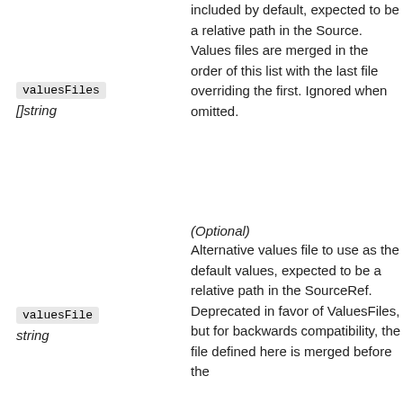valuesFiles
[]string
included by default, expected to be a relative path in the SourceRef. Values files are merged in the order of this list with the last file overriding the first. Ignored when omitted.
(Optional)
Alternative values file to use as the default values, expected to be a relative path in the SourceRef. Deprecated in favor of ValuesFiles, but for backwards compatibility, the file defined here is merged before the
valuesFile
string